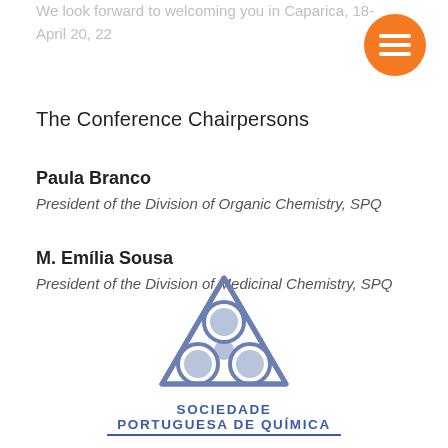We look forward to welcoming you in Caparica, 18-April 20, 22
[Figure (other): Orange circular menu button with three horizontal white lines (hamburger icon)]
The Conference Chairpersons
Paula Branco
President of the Division of Organic Chemistry, SPQ
M. Emília Sousa
President of the Division of Medicinal Chemistry, SPQ
[Figure (logo): Sociedade Portuguesa de Química logo — stylized triangular flask/molecule symbol in blue-grey with three circular elements, above the text SOCIEDADE PORTUGUESA DE QUÍMICA in bold blue spaced capitals with a blue underline]